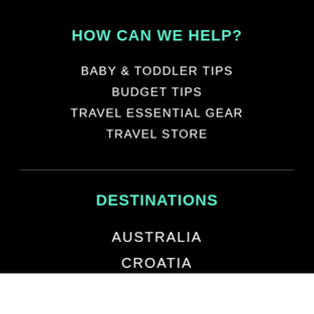HOW CAN WE HELP?
BABY & TODDLER TIPS
BUDGET TIPS
TRAVEL ESSENTIAL GEAR
TRAVEL STORE
DESTINATIONS
AUSTRALIA
CROATIA
GERMANY
INDONESIA